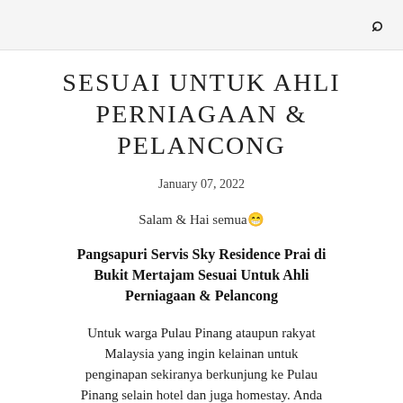🔍
SESUAI UNTUK AHLI PERNIAGAAN & PELANCONG
January 07, 2022
Salam & Hai semua🎉
Pangsapuri Servis Sky Residence Prai di Bukit Mertajam Sesuai Untuk Ahli Perniagaan & Pelancong
Untuk warga Pulau Pinang ataupun rakyat Malaysia yang ingin kelainan untuk penginapan sekiranya berkunjung ke Pulau Pinang selain hotel dan juga homestay. Anda